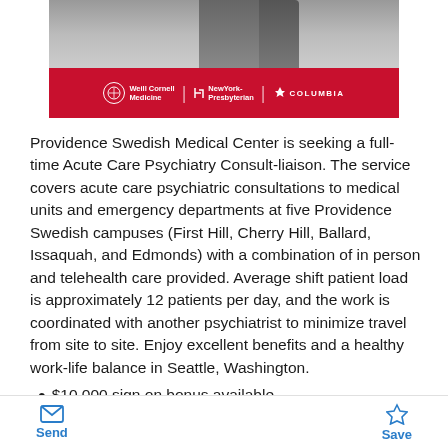[Figure (photo): Top banner image showing a person in formal attire above a red bar with Weill Cornell Medicine, NewYork-Presbyterian, and Columbia logos]
Providence Swedish Medical Center is seeking a full-time Acute Care Psychiatry Consult-liaison. The service covers acute care psychiatric consultations to medical units and emergency departments at five Providence Swedish campuses (First Hill, Cherry Hill, Ballard, Issaquah, and Edmonds) with a combination of in person and telehealth care provided. Average shift patient load is approximately 12 patients per day, and the work is coordinated with another psychiatrist to minimize travel from site to site. Enjoy excellent benefits and a healthy work-life balance in Seattle, Washington.
$10,000 sign on bonus available
Send   Save